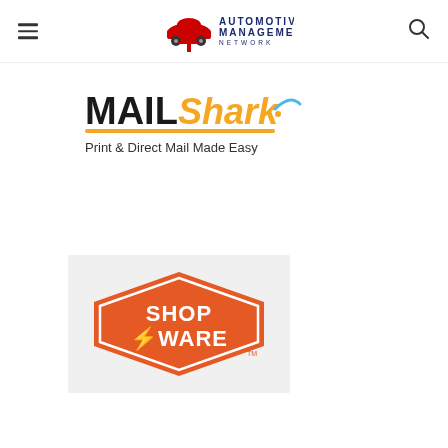[Figure (logo): Automotive Management Network logo with red car icon and blue text]
[Figure (logo): MailShark logo - Print & Direct Mail Made Easy]
[Figure (logo): Shop-Ware logo on grey background - orange diamond badge shape with white text]